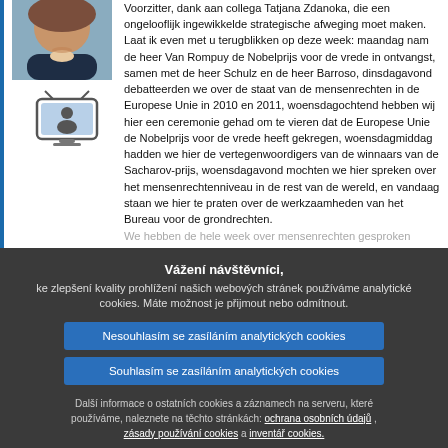[Figure (photo): Photo of a woman with brown hair in professional attire]
[Figure (illustration): Small TV/screen icon graphic]
Voorzitter, dank aan collega Tatjana Zdanoka, die een ongelooflijk ingewikkelde strategische afweging moet maken. Laat ik even met u terugblikken op deze week: maandag nam de heer Van Rompuy de Nobelprijs voor de vrede in ontvangst, samen met de heer Schulz en de heer Barroso, dinsdagavond debatteerden we over de staat van de mensenrechten in de Europese Unie in 2010 en 2011, woensdagochtend hebben wij hier een ceremonie gehad om te vieren dat de Europese Unie de Nobelprijs voor de vrede heeft gekregen, woensdagmiddag hadden we hier de vertegenwoordigers van de winnaars van de Sacharov-prijs, woensdagavond mochten we hier spreken over het mensenrechtenniveau in de rest van de wereld, en vandaag staan we hier te praten over de werkzaamheden van het Bureau voor de grondrechten.
We hebben de hele week over mensenrechten gesproken
Vážení návštěvníci, ke zlepšení kvality prohlížení našich webových stránek používáme analytické cookies. Máte možnost je přijmout nebo odmítnout.
Nesouhlasím se zasíláním analytických cookies
Souhlasím se zasíláním analytických cookies
Další informace o ostatních cookies a záznamech na serveru, které používáme, naleznete na těchto stránkách: ochrana osobních údajů , zásady používání cookies a inventář cookies.